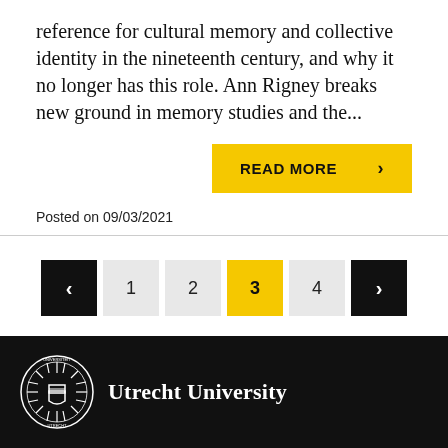reference for cultural memory and collective identity in the nineteenth century, and why it no longer has this role. Ann Rigney breaks new ground in memory studies and the...
READ MORE >
Posted on 09/03/2021
[Figure (other): Pagination controls showing previous arrow, pages 1, 2, 3 (active/highlighted), 4, and next arrow]
Utrecht University logo and name